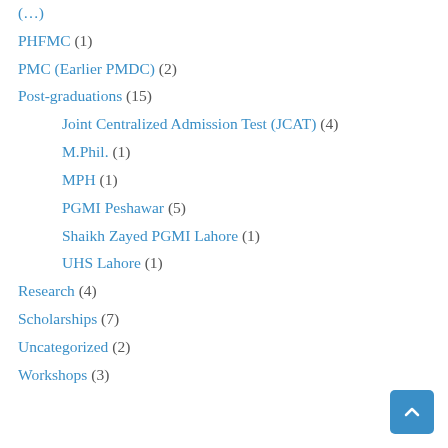(…)
PHFMC (1)
PMC (Earlier PMDC) (2)
Post-graduations (15)
Joint Centralized Admission Test (JCAT) (4)
M.Phil. (1)
MPH (1)
PGMI Peshawar (5)
Shaikh Zayed PGMI Lahore (1)
UHS Lahore (1)
Research (4)
Scholarships (7)
Uncategorized (2)
Workshops (3)